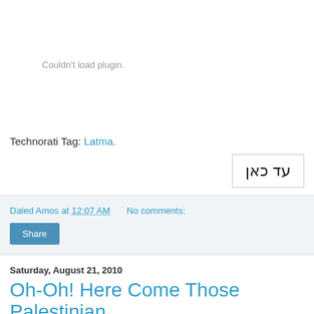[Figure (other): Embedded plugin area showing 'Couldn't load plugin.' error message in gray text]
Technorati Tag: Latma.
[Figure (other): Box containing Hebrew text: עד כאן]
Daled Amos at 12:07 AM   No comments:
Share
Saturday, August 21, 2010
Oh-Oh! Here Come Those Palestinian